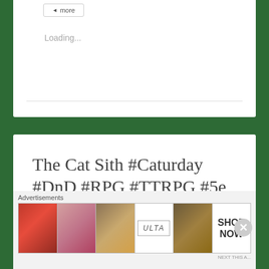Loading...
The Cat Sith #Caturday #DnD #RPG #TTRPG #5e
APRIL 9, 2022
Advertisements
[Figure (other): Ulta Beauty advertisement banner with makeup imagery and 'SHOP NOW' call to action]